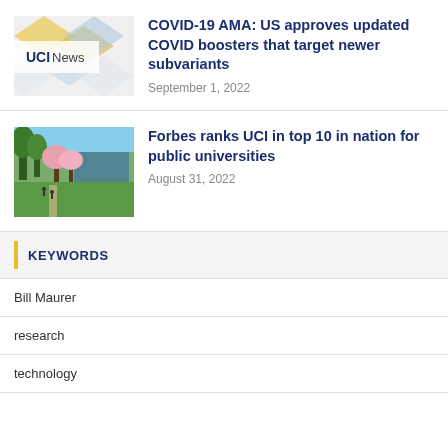[Figure (photo): UCI News thumbnail with geometric pattern background in blue and yellow]
COVID-19 AMA: US approves updated COVID boosters that target newer subvariants
September 1, 2022
[Figure (photo): Outdoor campus photo showing trees with pink blossoms, green lawn, and a building in background]
Forbes ranks UCI in top 10 in nation for public universities
August 31, 2022
KEYWORDS
Bill Maurer
research
technology